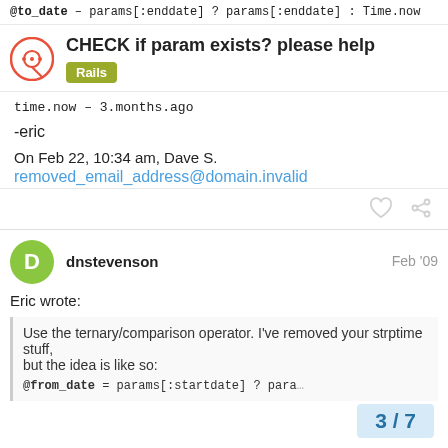@to_date – params[:enddate] ? params[:enddate] : Time.now
CHECK if param exists? please help
Rails
time.now – 3.months.ago
-eric
On Feb 22, 10:34 am, Dave S.
removed_email_address@domain.invalid
dnstevenson
Feb '09
Eric wrote:
Use the ternary/comparison operator. I've removed your strptime stuff, but the idea is like so:
@from_date = params[:startdate] ? para…
3 / 7